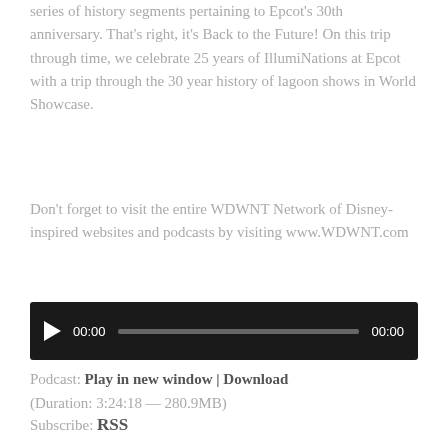series of history segments pertaining to Epcot's 30th anniversary. That's right, it's Back to the Future! On this trip through time, we celebrate 25 years of IllumiNations at Epcot with a trip through the 30 year history of lagoon shows in World Showcase.
Don't forget to visit the entire WDWNT Network of Disney-inspired websites and podcasts by visiting www.WDWNT.com
[Figure (other): Audio player widget with play button, time display 00:00, progress bar, and end time 00:00 on dark background]
Podcast: Play in new window | Download (Duration: 3:24:18 — 280.9MB)
Subscribe: RSS
Leave a Reply
Your email address will not be published. Required fields are marked *